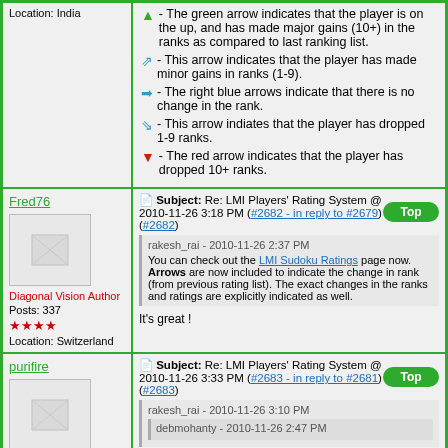Location: India
🟢 - The green arrow indicates that the player is on the up, and has made major gains (10+) in the ranks as compared to last ranking list.
🔵↖ - This arrow indicates that the player has made minor gains in ranks (1-9).
➡ - The right blue arrows indicate that there is no change in the rank.
🔵↙ - This arrow indiates that the player has dropped 1-9 ranks.
🔴↓ - The red arrow indicates that the player has dropped 10+ ranks.
Fred76
Subject: Re: LMI Players' Rating System @ 2010-11-26 3:18 PM (#2682 - in reply to #2679) (#2682)
Diagonal Vision Author
Posts: 337
Location: Switzerland
rakesh_rai - 2010-11-26 2:37 PM
You can check out the LMI Sudoku Ratings page now. Arrows are now included to indicate the change in rank (from previous rating list). The exact changes in the ranks and ratings are explicitly indicated as well.
It's great !
purifire
Subject: Re: LMI Players' Rating System @ 2010-11-26 3:33 PM (#2683 - in reply to #2681) (#2683)
rakesh_rai - 2010-11-26 3:10 PM
debmohanty - 2010-11-26 2:47 PM